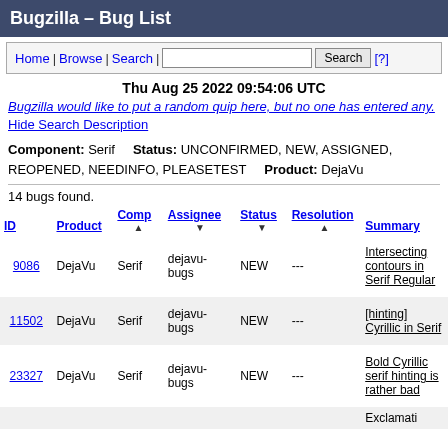Bugzilla – Bug List
Home | Browse | Search | [Search box] [Search] [?]
Thu Aug 25 2022 09:54:06 UTC
Bugzilla would like to put a random quip here, but no one has entered any. Hide Search Description
Component: Serif    Status: UNCONFIRMED, NEW, ASSIGNED, REOPENED, NEEDINFO, PLEASETEST    Product: DejaVu
14 bugs found.
| ID | Product | Comp | Assignee | Status | Resolution | Summary |
| --- | --- | --- | --- | --- | --- | --- |
| 9086 | DejaVu | Serif | dejavu-bugs | NEW | --- | Intersecting contours in Serif Regular |
| 11502 | DejaVu | Serif | dejavu-bugs | NEW | --- | [hinting] Cyrillic in Serif |
| 23327 | DejaVu | Serif | dejavu-bugs | NEW | --- | Bold Cyrillic serif hinting is rather bad |
|  |  |  |  |  |  | Exclamati... |